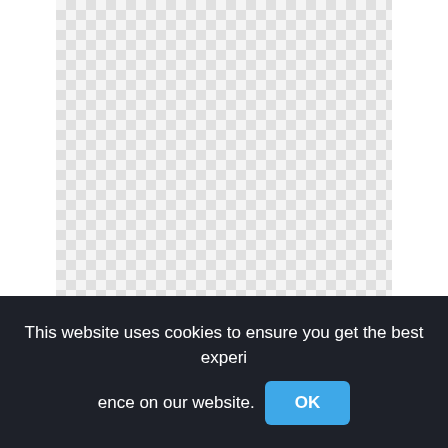[Figure (other): Checkerboard transparency pattern background representing a transparent/empty PNG image area]
Maracas Clipart Watercolor, Clip Art Horse Riding,watercolor flowers png
This website uses cookies to ensure you get the best experience on our website. OK